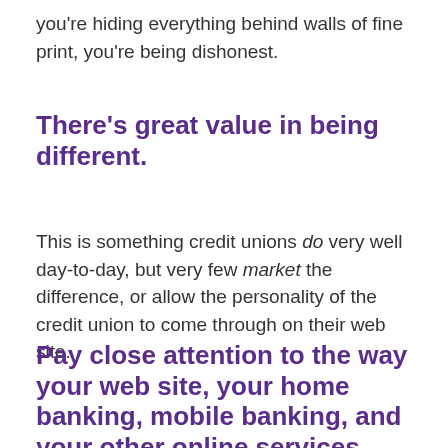you're hiding everything behind walls of fine print, you're being dishonest.
There's great value in being different.
This is something credit unions do very well day-to-day, but very few market the difference, or allow the personality of the credit union to come through on their web site.
Pay close attention to the way your web site, your home banking, mobile banking, and your other online services